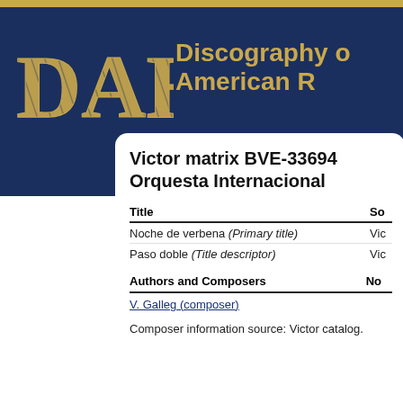[Figure (logo): DAHR logo with gold stylized letters on dark navy background, with text 'Discography of American R...' in gold]
Victor matrix BVE-33694. Orquesta Internacional
| Title | So... |
| --- | --- |
| Noche de verbena (Primary title) | Vic... |
| Paso doble (Title descriptor) | Vic... |
| Authors and Composers | No... |
| --- | --- |
| V. Galleg (composer) |  |
Composer information source: Victor catalog.